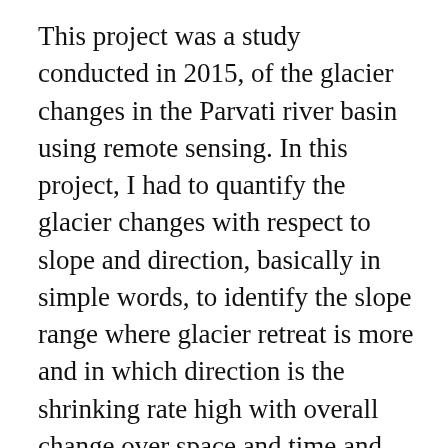This project was a study conducted in 2015, of the glacier changes in the Parvati river basin using remote sensing. In this project, I had to quantify the glacier changes with respect to slope and direction, basically in simple words, to identify the slope range where glacier retreat is more and in which direction is the shrinking rate high with overall change over space and time and how climate change is responsible for these changes in the basin. The satellite imageries obtained from multiple sources such as NASA USGS portal and some belonging to NRSC-ISRO were used in this study.
This experience gave me the confidence to go to